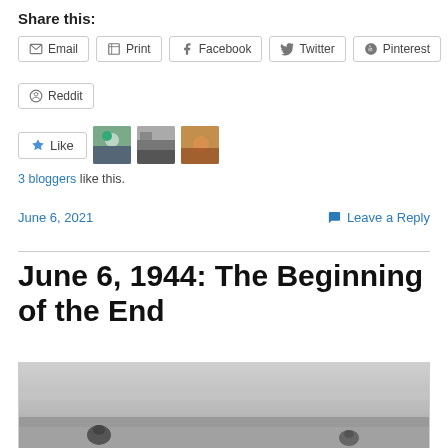Share this:
Email | Print | Facebook | Twitter | Pinterest
Reddit
Like  [avatar images]
3 bloggers like this.
June 6, 2021   Leave a Reply
June 6, 1944: The Beginning of the End
[Figure (photo): Black and white historical photograph, partially visible, appears to show a beach or coastal scene from WWII era D-Day landing.]